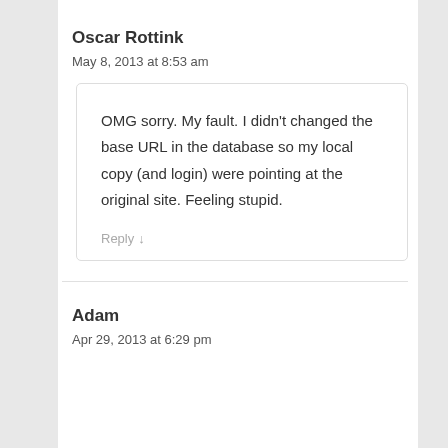Oscar Rottink
May 8, 2013 at 8:53 am
OMG sorry. My fault. I didn't changed the base URL in the database so my local copy (and login) were pointing at the original site. Feeling stupid.
Reply ↓
Adam
Apr 29, 2013 at 6:29 pm